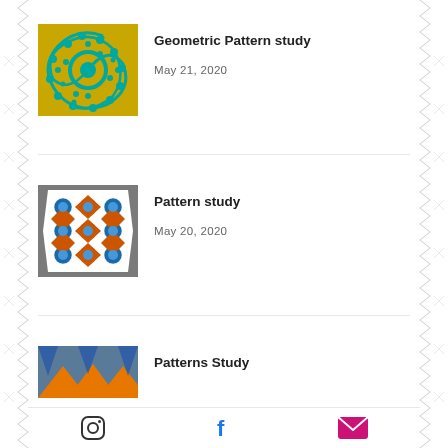[Figure (illustration): Thumbnail of Geometric Pattern study - swirling yellow and teal geometric pattern with circular motifs]
Geometric Pattern study
May 21, 2020
[Figure (illustration): Thumbnail of Pattern study - blue and orange Islamic geometric tile pattern on grey background]
Pattern study
May 20, 2020
[Figure (illustration): Thumbnail of Patterns Study - partially visible blue/orange geometric pattern]
Patterns Study
Instagram | Facebook | Email